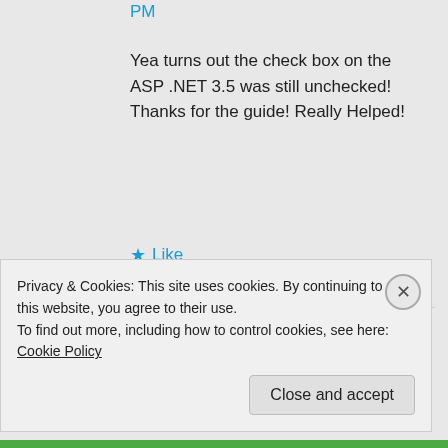PM
Yea turns out the check box on the ASP .NET 3.5 was still unchecked! Thanks for the guide! Really Helped!
★ Like
Ravi Yadav on October 25, 2016 at 2:26 PM
Privacy & Cookies: This site uses cookies. By continuing to use this website, you agree to their use.
To find out more, including how to control cookies, see here: Cookie Policy
Close and accept